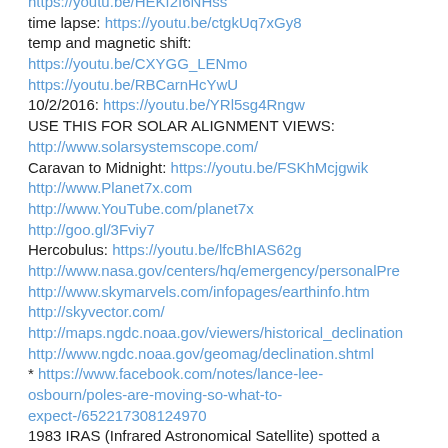https://youtu.be/HEKf2I6NHss
time lapse: https://youtu.be/ctgkUq7xGy8
temp and magnetic shift:
https://youtu.be/CXYGG_LENmo
https://youtu.be/RBCarnHcYwU
10/2/2016: https://youtu.be/YRl5sg4Rngw
USE THIS FOR SOLAR ALIGNMENT VIEWS:
http://www.solarsystemscope.com/
Caravan to Midnight: https://youtu.be/FSKhMcjgwik
http://www.Planet7x.com
http://www.YouTube.com/planet7x
http://goo.gl/3Fviy7
Hercobulus: https://youtu.be/lfcBhIAS62g
http://www.nasa.gov/centers/hq/emergency/personalPre
http://www.skymarvels.com/infopages/earthinfo.htm
http://skyvector.com/
http://maps.ngdc.noaa.gov/viewers/historical_declination
http://www.ngdc.noaa.gov/geomag/declination.shtml
* https://www.facebook.com/notes/lance-lee-osbourn/poles-are-moving-so-what-to-expect-/652217308124970
1983 IRAS (Infrared Astronomical Satellite) spotted a